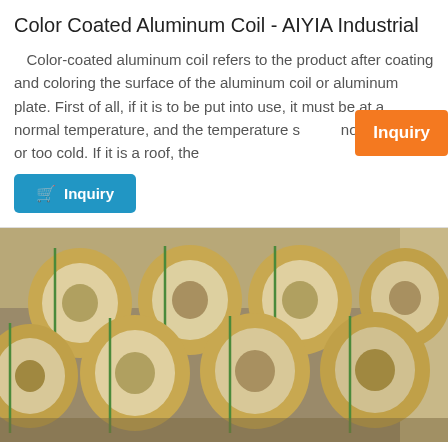Color Coated Aluminum Coil - AIYIA Industrial
Color-coated aluminum coil refers to the product after coating and coloring the surface of the aluminum coil or aluminum plate. First of all, if it is to be put into use, it must be at a normal temperature, and the temperature should not be too hot or too cold. If it is a roof, the
[Figure (screenshot): Orange Inquiry button overlay in top right area]
[Figure (photo): Warehouse storing large rolls of color coated aluminum coil wrapped in brown paper/cardboard, multiple rows visible]